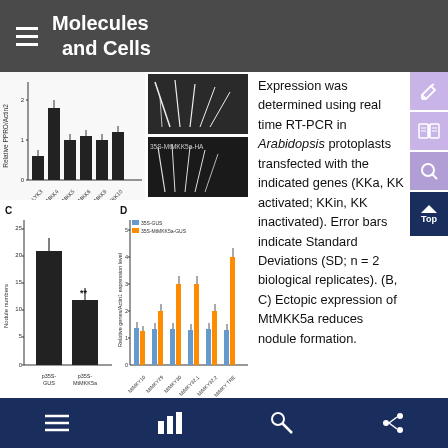Molecules and Cells
[Figure (bar-chart): Panel C: Bar chart showing nodule numbers for p35S-GUS (~21) vs p35S-MtMKK5a (~12, **), and Panel D: Grouped bar chart of relative gene/Actin expression level for various MtMKY genes with 35S-GUS and 35S-MtMKK5a-GUS conditions. Additional top panels show bar chart of relative PPRO/Actin level and microscopy images of roots.]
Expression was determined using real time RT-PCR in Arabidopsis protoplasts transfected with the indicated genes (KKa, KK activated; KKin, KK inactivated). Error bars indicate Standard Deviations (SD; n = 2 biological replicates). (B, C) Ectopic expression of MtMKK5a reduces nodule formation.
Three-week-old M. truncatula roots expressing p35S-GUS or p35S-MtMKK5a-HA were inoculated with S. meliloti for two weeks. Representative nodule phenotypes of the transgenic roots are shown in (B), and the number of nodules is shown in (C). Error bars indicate SE (n = 14), and a Student's t-test was performed (**P < 0.01) to assess significant differences. (D) MtMKK5a action the expression of
Navigation bar with list, chart, wrench, and share icons